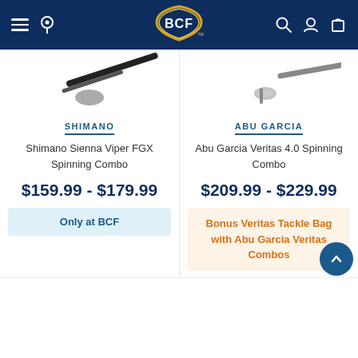[Figure (screenshot): BCF (Boating Camping Fishing) website header with dark navy background, hamburger menu, location pin icon on left, BCF logo (shield shape with gold border) in center, search, account, and cart icons on right]
[Figure (photo): Partial view of Shimano Sienna Viper FGX Spinning Combo product image, showing rod/reel components cropped at top]
[Figure (photo): Partial view of Abu Garcia Veritas 4.0 Spinning Combo product image, showing rod/reel components cropped at top]
SHIMANO
Shimano Sienna Viper FGX Spinning Combo
$159.99 - $179.99
Only at BCF
ABU GARCIA
Abu Garcia Veritas 4.0 Spinning Combo
$209.99 - $229.99
Bonus Veritas Tackle Bag with Abu Garcia Veritas Combos